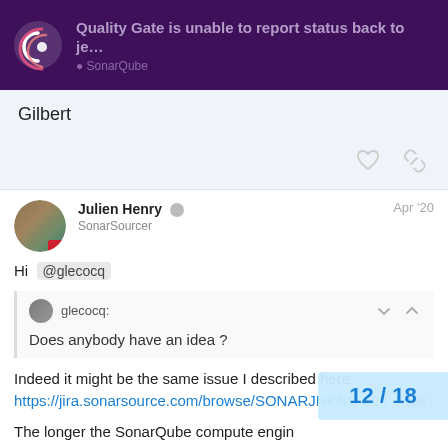Quality Gate is unable to report status back to je... | SonarQube
Gilbert
Julien Henry  SonarSourcer  Apr '20
Hi @glecocq
glecocq: Does anybody have an idea ?
Indeed it might be the same issue I described here: https://jira.sonarsource.com/browse/SONARJNKNS-320  108
The longer the SonarQube compute engine takes, the more likely this issue could appe